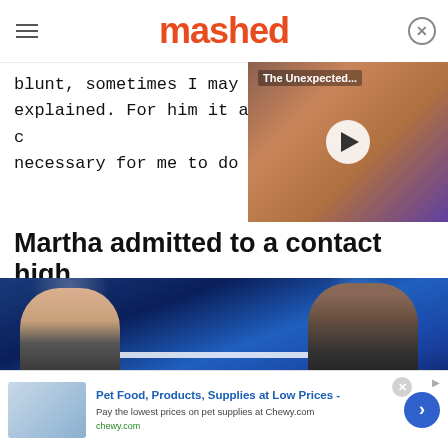mashed
blunt, sometimes I may sm... explained. For him it all c... necessary for me to do wh...
[Figure (screenshot): Video thumbnail showing a woman with text overlay 'The Unexpected...' and a play button]
Martha admitted to a contact high
[Figure (photo): Photo of Martha Stewart and Snoop Dogg on a blue-lit stage, Snoop appears to be smoking]
Pet Food, Products, Supplies at Low Prices - Pay the lowest prices on pet supplies at Chewy.com chewy.com